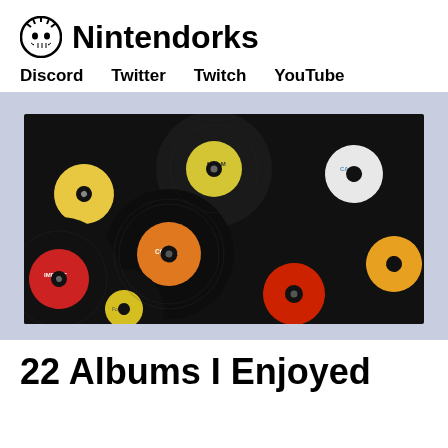Nintendorks
Discord   Twitter   Twitch   YouTube
[Figure (photo): A pile of vintage vinyl 45 RPM records with colorful labels including Coral, M-G-M, Impact, Fontara, Cadence, and Cage labels in red, yellow, orange, and white.]
22 Albums I Enjoyed